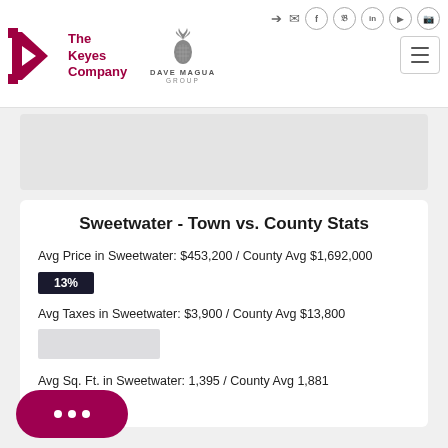The Keyes Company / Dave Magua Group header with navigation icons
[Figure (photo): Gray placeholder image area]
Sweetwater - Town vs. County Stats
Avg Price in Sweetwater: $453,200 / County Avg $1,692,000
13%
Avg Taxes in Sweetwater: $3,900 / County Avg $13,800
Avg Sq. Ft. in Sweetwater: 1,395 / County Avg 1,881
37%